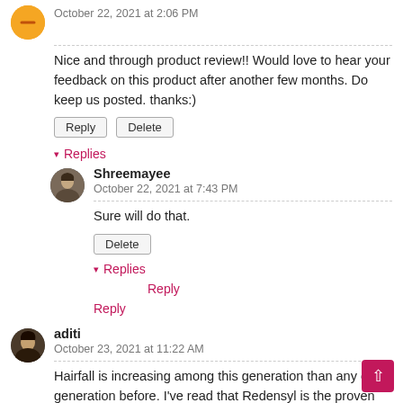October 22, 2021 at 2:06 PM
Nice and through product review!! Would love to hear your feedback on this product after another few months. Do keep us posted. thanks:)
Reply  Delete
▾ Replies
Shreemayee
October 22, 2021 at 7:43 PM
Sure will do that.
Delete
▾ Replies
Reply
Reply
aditi
October 23, 2021 at 11:22 AM
Hairfall is increasing among this generation than any other generation before. I've read that Redensyl is the proven treatment of hair fall. Shall definitely try this serum!